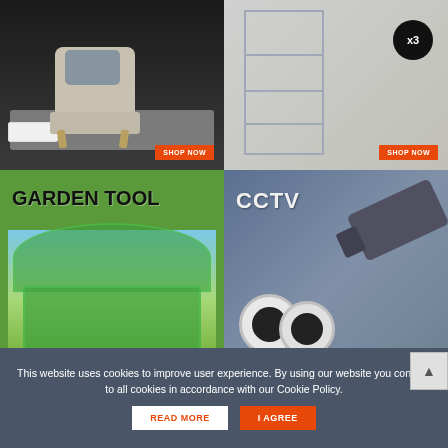[Figure (photo): Living room scene with a beige rocking chair, decorative pillow, white coffee table, and striped rug on a dark background. Orange 'SHOP NOW' button in bottom-right corner.]
[Figure (photo): Steel shelving unit with boxes and items on shelves, a wooden ladder, and a black bag. Black circle badge with 'x3' in top-right corner. Orange 'SHOP NOW' button in bottom-right corner.]
[Figure (photo): Green greenhouse tunnel tent in a garden with plants inside. Bold 'GARDEN TOOL' text in top-left. Orange 'SHOP NOW' button in bottom-right corner.]
[Figure (photo): CCTV security cameras on a blue-grey background. Bold 'CCTV' text in top-left. Two white dome cameras and one large bullet camera visible. Orange 'SHOP NOW' button in bottom-right corner.]
This website uses cookies to improve user experience. By using our website you consent to all cookies in accordance with our Cookie Policy.
READ MORE
I AGREE